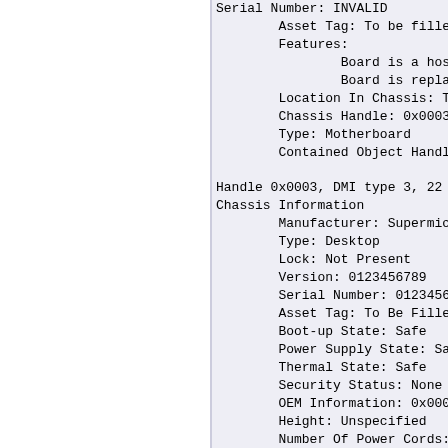Serial Number: INVALID
        Asset Tag: To be filled
        Features:
                Board is a hosti
                Board is replace
        Location In Chassis: To
        Chassis Handle: 0x0003
        Type: Motherboard
        Contained Object Handles

Handle 0x0003, DMI type 3, 22 by
Chassis Information
        Manufacturer: Supermicro
        Type: Desktop
        Lock: Not Present
        Version: 0123456789
        Serial Number: 012345678
        Asset Tag: To Be Filled
        Boot-up State: Safe
        Power Supply State: Safe
        Thermal State: Safe
        Security Status: None
        OEM Information: 0x00000
        Height: Unspecified
        Number Of Power Cords: 1
        Contained Elements: 0

Handle 0x0004, DMI type 7, 19 by
Cache Information
        Socket Designation: L1 C
        Configuration: Enabled,
        Operational Mode: Varies
        Location: Internal